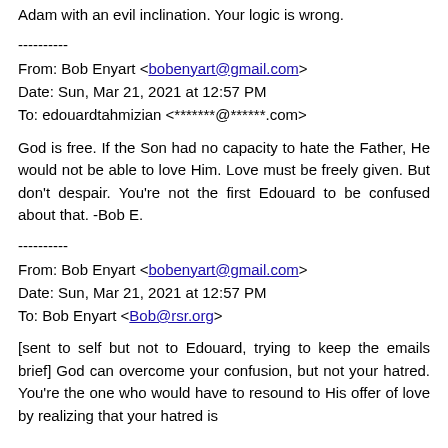Adam with an evil inclination. Your logic is wrong.
----------
From: Bob Enyart <bobenyart@gmail.com>
Date: Sun, Mar 21, 2021 at 12:57 PM
To: edouardtahmizian <*******@******.com>
God is free. If the Son had no capacity to hate the Father, He would not be able to love Him. Love must be freely given. But don't despair. You're not the first Edouard to be confused about that. -Bob E.
----------
From: Bob Enyart <bobenyart@gmail.com>
Date: Sun, Mar 21, 2021 at 12:57 PM
To: Bob Enyart <Bob@rsr.org>
[sent to self but not to Edouard, trying to keep the emails brief] God can overcome your confusion, but not your hatred. You're the one who would have to resound to His offer of love by realizing that your hatred is